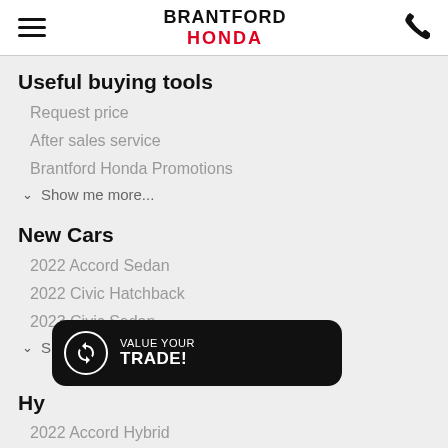BRANTFORD HONDA
Useful buying tools
Request price
After sales service
Brantford Honda Promotions
Show me more...
New Cars
2022 Accord Sedan
2022 Civic Hatchback
2023 Civic Sedan
Show me more...
[Figure (infographic): Value Your Trade button overlay with circular arrows icon]
Hybrid
2022 Accord Hybrid